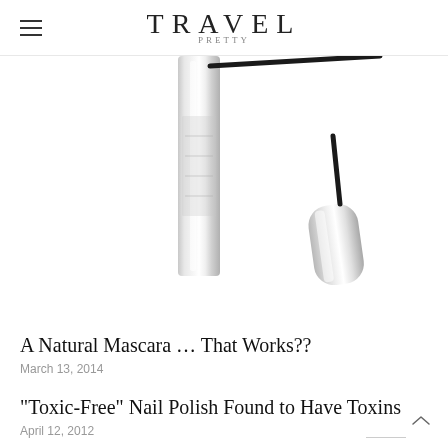TRAVEL PRETTY
[Figure (photo): A silver mascara tube with black wand/brush extended, photographed on white background]
A Natural Mascara … That Works??
March 13, 2014
“Toxic-Free” Nail Polish Found to Have Toxins
April 12, 2012